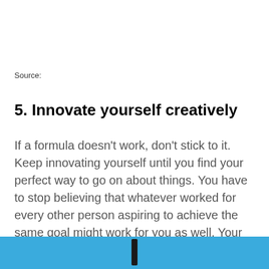Source:
5. Innovate yourself creatively
If a formula doesn't work, don't stick to it. Keep innovating yourself until you find your perfect way to go on about things. You have to stop believing that whatever worked for every other person aspiring to achieve the same goal might work for you as well. Your journey is different and your difficulty level as well, so keep innovating according to that.
[Figure (photo): Blue banner/bar at the bottom of the page with a dark vertical element visible]